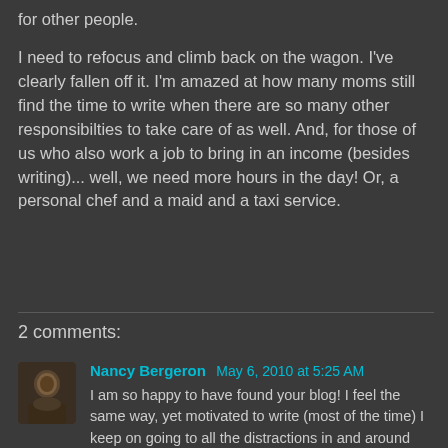for other people.
I need to refocus and climb back on the wagon. I've clearly fallen off it. I'm amazed at how many moms still find the time to write when there are so many other responsibilties to take care of as well. And, for those of us who also work a job to bring in an income (besides writing)... well, we need more hours in the day! Or, a personal chef and a maid and a taxi service.
Share
2 comments:
Nancy Bergeron May 6, 2010 at 5:25 AM
I am so happy to have found your blog! I feel the same way, yet motivated to write (most of the time) I keep on going to all the distractions in and around the home. Even the cats'